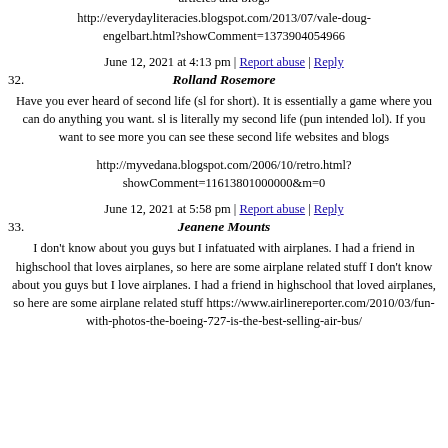articles and blogs
http://everydayliteracies.blogspot.com/2013/07/vale-doug-engelbart.html?showComment=1373904054966
June 12, 2021 at 4:13 pm | Report abuse | Reply
32. Rolland Rosemore
Have you ever heard of second life (sl for short). It is essentially a game where you can do anything you want. sl is literally my second life (pun intended lol). If you want to see more you can see these second life websites and blogs
http://myvedana.blogspot.com/2006/10/retro.html?showComment=11613801000000&m=0
June 12, 2021 at 5:58 pm | Report abuse | Reply
33. Jeanene Mounts
I don't know about you guys but I infatuated with airplanes. I had a friend in highschool that loves airplanes, so here are some airplane related stuff I don't know about you guys but I love airplanes. I had a friend in highschool that loved airplanes, so here are some airplane related stuff https://www.airlinereporter.com/2010/03/fun-with-photos-the-boeing-727-is-the-best-selling-air-bus/